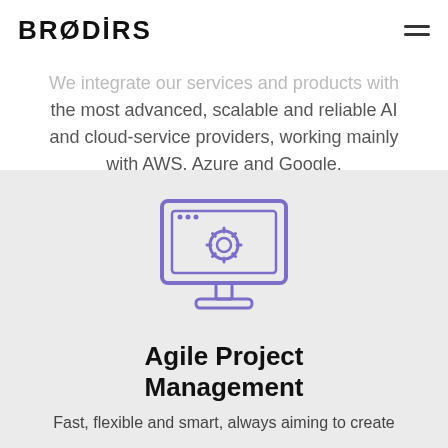BRODLRS
We integrate our services and products with the most advanced, scalable and reliable AI and cloud-service providers, working mainly with AWS, Azure and Google.
[Figure (illustration): Purple outline icon of a desktop computer monitor displaying a gear/settings icon, with a stand and base]
Agile Project Management
Fast, flexible and smart, always aiming to create